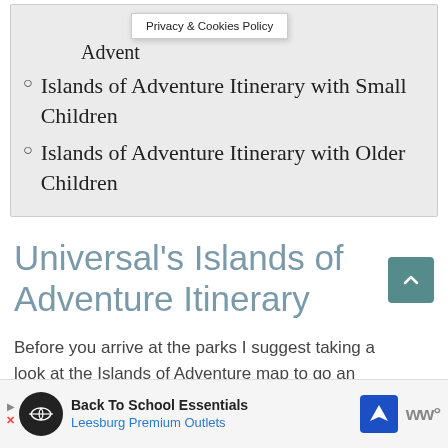[Figure (screenshot): Privacy & Cookies Policy popup overlay on gray navigation box]
Islands of Adventure Itinerary with Small Children
Islands of Adventure Itinerary with Older Children
Universal's Islands of Adventure Itinerary
Before you arrive at the parks I suggest taking a look at the Islands of Adventure map to ge an understanding of the layout and the park. Th ome
[Figure (screenshot): Back To School Essentials - Leesburg Premium Outlets advertisement banner at bottom of page]